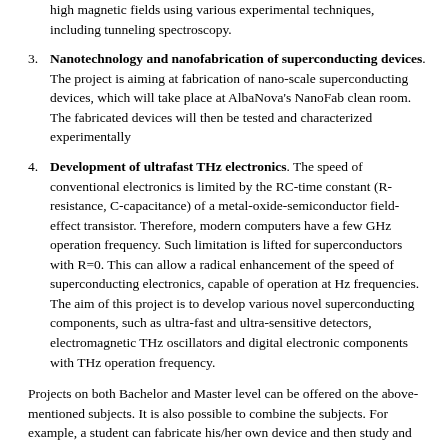high magnetic fields using various experimental techniques, including tunneling spectroscopy.
3. Nanotechnology and nanofabrication of superconducting devices. The project is aiming at fabrication of nano-scale superconducting devices, which will take place at AlbaNova's NanoFab clean room. The fabricated devices will then be tested and characterized experimentally
4. Development of ultrafast THz electronics. The speed of conventional electronics is limited by the RC-time constant (R-resistance, C-capacitance) of a metal-oxide-semiconductor field-effect transistor. Therefore, modern computers have a few GHz operation frequency. Such limitation is lifted for superconductors with R=0. This can allow a radical enhancement of the speed of superconducting electronics, capable of operation at Hz frequencies. The aim of this project is to develop various novel superconducting components, such as ultra-fast and ultra-sensitive detectors, electromagnetic THz oscillators and digital electronic components with THz operation frequency.
Projects on both Bachelor and Master level can be offered on the above-mentioned subjects. It is also possible to combine the subjects. For example, a student can fabricate his/her own device and then study and characterize it experimentally, or perform fundamental studies and research.